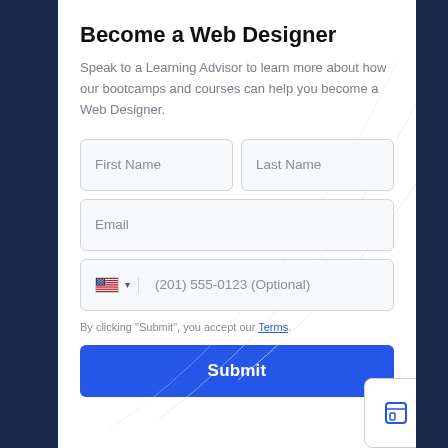Become a Web Designer
Speak to a Learning Advisor to learn more about how our bootcamps and courses can help you become a Web Designer.
First Name | Last Name | Email | (201) 555-0123 (Optional)
By clicking “Submit”, you accept our Terms.
Submit
Menu